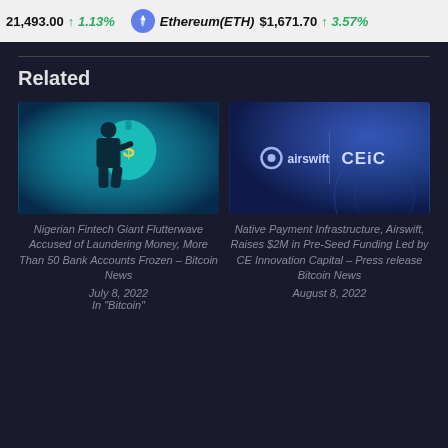21,493.00 ↑ 1.13%   Ethereum(ETH) $1,671.70 ↑ 3.57%
Related
[Figure (illustration): Person in dark silhouette carrying a large money bag with dollar sign, teal/blue background]
Nigerian Fintech Giant Flutterwave Accused of Laundering Money, More Than 50 Bank Accounts Frozen – Bitcoin News
July 8, 2022
In "Bitcoin"
[Figure (logo): Airswift and CEiC logos side by side on a dark blue/purple gradient background]
Native Payment Infrastructure, Airswift, Raises $2M in Pre-Seed Funding Led by CE Innovation Capital – Press release Bitcoin News
August 8, 2022